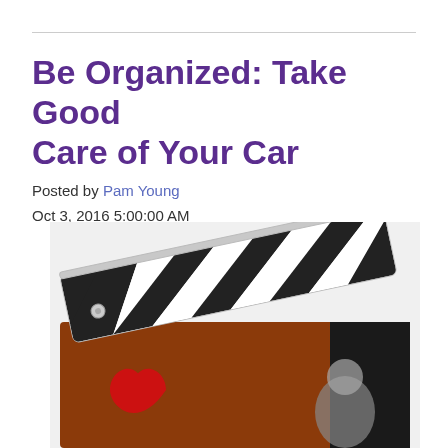Be Organized: Take Good Care of Your Car
Posted by Pam Young
Oct 3, 2016 5:00:00 AM
[Figure (photo): A movie clapperboard (black and white striped clapper) open at an angle, with an orange/brown lower board visible and a red heart graphic and a person visible in the lower portion.]